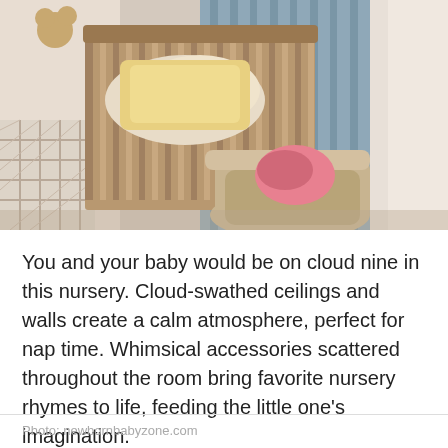[Figure (photo): A cozy nursery room with a wooden crib, a yellow upholstered armchair with pink floral pillow, blue draped curtains, a polka-dot lamp shade, and lattice window trim.]
You and your baby would be on cloud nine in this nursery. Cloud-swathed ceilings and walls create a calm atmosphere, perfect for nap time. Whimsical accessories scattered throughout the room bring favorite nursery rhymes to life, feeding the little one's imagination.
Photo: newbornbabyzone.com